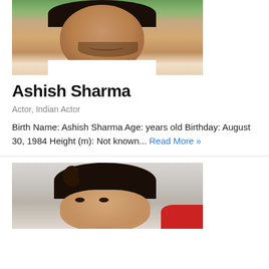[Figure (photo): Photo of Ashish Sharma, a man with dark beard and hair, smiling outdoors against green background, wearing white shirt]
Ashish Sharma
Actor, Indian Actor
Birth Name: Ashish Sharma Age: years old Birthday: August 30, 1984 Height (m): Not known... Read More »
[Figure (photo): Photo of another actor, a young man with styled dark hair, light background with red element visible]